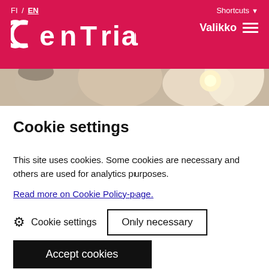FI / EN   Shortcuts
[Figure (logo): Centria university logo in white text on red/crimson background with Valikko menu button]
[Figure (photo): Blurred hero image strip showing ceiling with light bulbs]
Cookie settings
This site uses cookies. Some cookies are necessary and others are used for analytics purposes.
Read more on Cookie Policy-page.
Cookie settings   Only necessary
Accept cookies